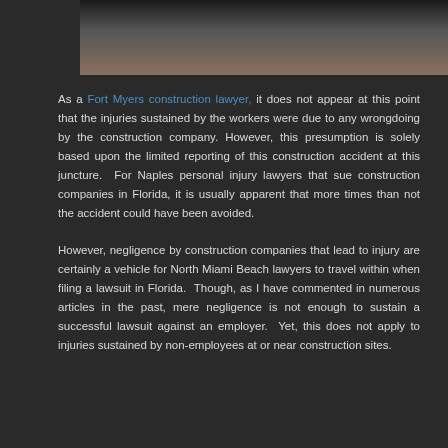[Figure (photo): Partial photograph showing two people (legs/lower body visible) standing in front of a sandy/earthen surface, appearing to be at a construction site.]
As a Fort Myers construction lawyer, it does not appear at this point that the injuries sustained by the workers were due to any wrongdoing by the construction company. However, this presumption is solely based upon the limited reporting of this construction accident at this juncture.  For Naples personal injury lawyers that sue construction companies in Florida, it is usually apparent that more times than not the accident could have been avoided.
However, negligence by construction companies that lead to injury are certainly a vehicle for North Miami Beach lawyers to travel within when filing a lawsuit in Florida.  Though, as I have commented in numerous articles in the past, mere negligence is not enough to sustain a successful lawsuit against an employer.  Yet, this does not apply to injuries sustained by non-employees at or near construction sites.